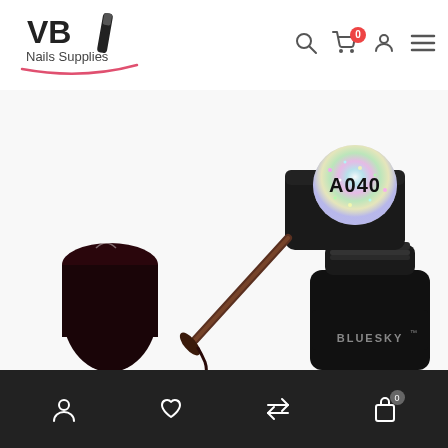[Figure (logo): VB Nails Supplies logo with nail file icon and pink swoosh underline]
[Figure (photo): Bluesky nail gel polish bottle A040 with holographic glitter cap open, brush applicator extended over dark polish swatch on nail, bottle label partially visible reading BLUESKY]
Account | Wishlist | Compare | Cart (0)